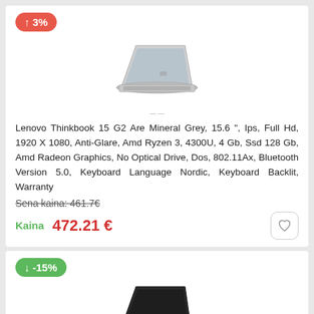[Figure (infographic): Product card with salmon/red badge showing up arrow and +3% price increase, a silver Lenovo Thinkbook laptop image, product title text, old price struck through, and current price with heart/wishlist button]
Lenovo Thinkbook 15 G2 Are Mineral Grey, 15.6 ", Ips, Full Hd, 1920 X 1080, Anti-Glare, Amd Ryzen 3, 4300U, 4 Gb, Ssd 128 Gb, Amd Radeon Graphics, No Optical Drive, Dos, 802.11Ax, Bluetooth Version 5.0, Keyboard Language Nordic, Keyboard Backlit, Warranty
Sena kaina: 461.7€
Kaina 472.21 €
[Figure (infographic): Second product card with green badge showing down arrow and -15% price decrease, a dark/black laptop image visible at bottom]